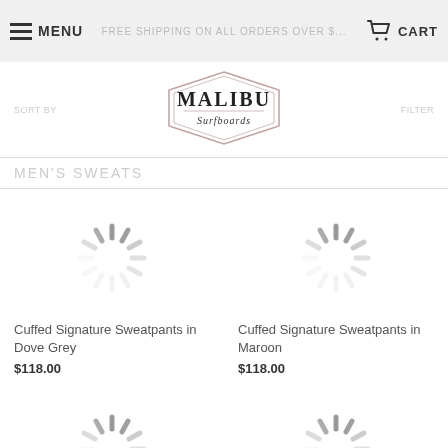MENU  FREE SHIPPING ON ALL ORDERS OVER $... CART
[Figure (logo): Malibu Surfboards hexagonal logo in black and white]
MEN'S SWEATS
[Figure (photo): Loading spinner placeholder for Cuffed Signature Sweatpants in Dove Grey]
Cuffed Signature Sweatpants in Dove Grey
$118.00
[Figure (photo): Loading spinner placeholder for Cuffed Signature Sweatpants in Maroon]
Cuffed Signature Sweatpants in Maroon
$118.00
[Figure (photo): Loading spinner placeholder for Cuffed Signature Sweatpants in Soft Blue]
Cuffed Signature Sweatpants in Soft Blue
[Figure (photo): Loading spinner placeholder for Straight Leg Signature Sweatpants in Dove Grey]
Straight Leg Signature Sweatpants in Dove Grey